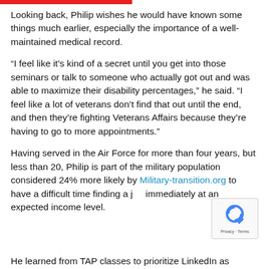Looking back, Philip wishes he would have known some things much earlier, especially the importance of a well-maintained medical record.
“I feel like it’s kind of a secret until you get into those seminars or talk to someone who actually got out and was able to maximize their disability percentages,” he said. “I feel like a lot of veterans don’t find that out until the end, and then they’re fighting Veterans Affairs because they’re having to go to more appointments.”
Having served in the Air Force for more than four years, but less than 20, Philip is part of the military population considered 24% more likely by Military-transition.org to have a difficult time finding a job immediately at an expected income level.
He learned from TAP classes to prioritize LinkedIn as